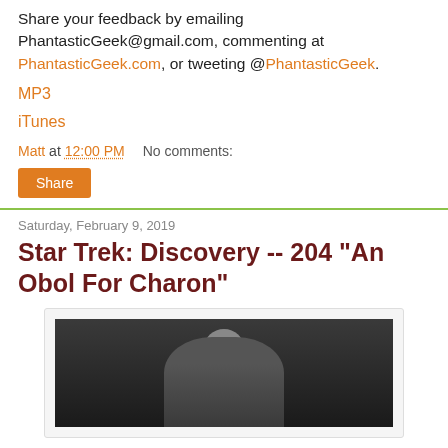Share your feedback by emailing PhantasticGeek@gmail.com, commenting at PhantasticGeek.com, or tweeting @PhantasticGeek.
MP3
iTunes
Matt at 12:00 PM    No comments:
Share
Saturday, February 9, 2019
Star Trek: Discovery -- 204 "An Obol For Charon"
[Figure (photo): Dark sci-fi scene showing a bald alien or humanoid figure in a blue outfit, viewed from the front in a spacecraft interior setting.]